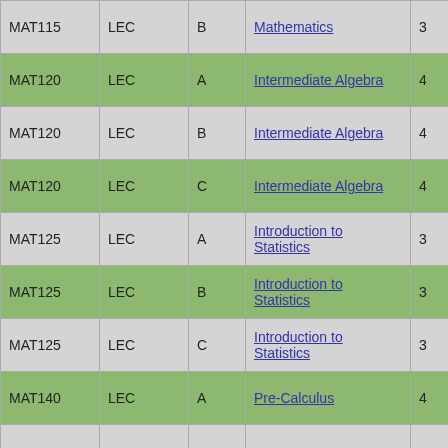| MAT115 | LEC | B | Mathematics | 3 | Mihalcik, Julie |
| MAT120 | LEC | A | Intermediate Algebra | 4 | Scott, Ruth |
| MAT120 | LEC | B | Intermediate Algebra | 4 | Grande, Patrick |
| MAT120 | LEC | C | Intermediate Algebra | 4 | Buyce, Stanley |
| MAT125 | LEC | A | Introduction to Statistics | 3 | Grande, Patrick |
| MAT125 | LEC | B | Introduction to Statistics | 3 | Grande, Patrick |
| MAT125 | LEC | C | Introduction to Statistics | 3 | Scott, Ruth |
| MAT140 | LEC | A | Pre-Calculus | 4 | Mihalcik, Julie |
|  |  |  |  |  |  |